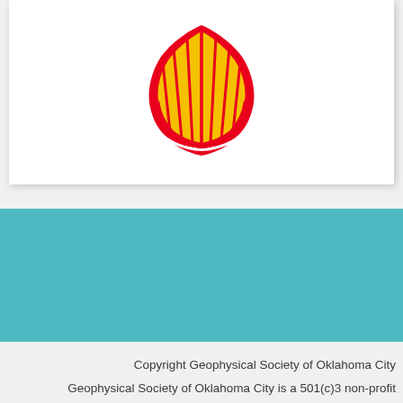[Figure (logo): Shell oil company logo — red and yellow shell shape on white background]
Copyright Geophysical Society of Oklahoma City
Geophysical Society of Oklahoma City is a 501(c)3 non-profit organization.
P.O. Box 1032  Oklahoma City, OK 73101
Powered by Wild Apricot Membership Software